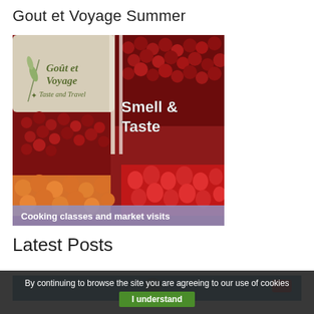Gout et Voyage Summer
[Figure (photo): Promotional image for Gout et Voyage showing cherries, strawberries, and apricots at a market. Logo in top-left reads 'Goût et Voyage – Taste and Travel'. Text overlay reads 'Smell & Taste'. Bottom banner reads 'Cooking classes and market visits'.]
Latest Posts
[Figure (photo): Partially visible image at the bottom of the page with a blue-grey background, partially cut off.]
By continuing to browse the site you are agreeing to our use of cookies
I understand